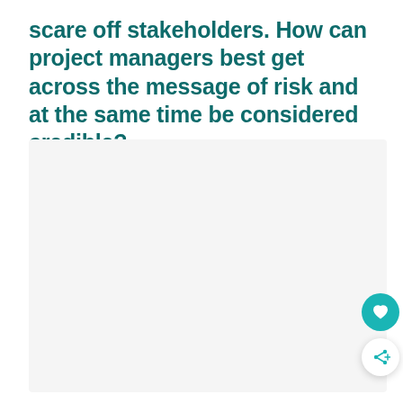scare off stakeholders. How can project managers best get across the message of risk and at the same time be considered credible?
[Figure (other): Light gray placeholder image box]